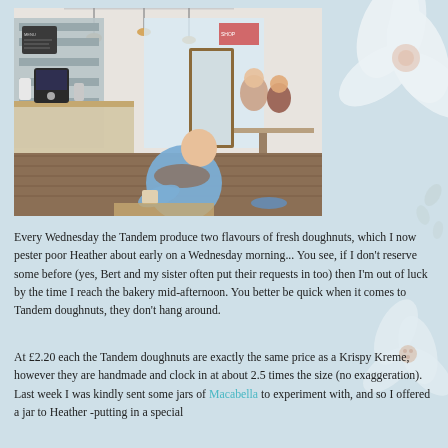[Figure (photo): Interior of Tandem bakery/cafe showing counter with coffee equipment on the left, shelving unit with menu boards, pendant lights hanging from ceiling, and customers seated at tables on the right side. A woman in a light blue jacket is seated in the foreground. View extends toward a bright storefront window.]
Every Wednesday the Tandem produce two flavours of fresh doughnuts, which I now pester poor Heather about early on a Wednesday morning... You see, if I don't reserve some before (yes, Bert and my sister often put their requests in too) then I'm out of luck by the time I reach the bakery mid-afternoon. You better be quick when it comes to Tandem doughnuts, they don't hang around.
At £2.20 each the Tandem doughnuts are exactly the same price as a Krispy Kreme, however they are handmade and clock in at about 2.5 times the size (no exaggeration). Last week I was kindly sent some jars of Macabella to experiment with, and so I offered a jar to Heather -putting in a special request to the Tandem for a Belgian chocolate and hazelnut...